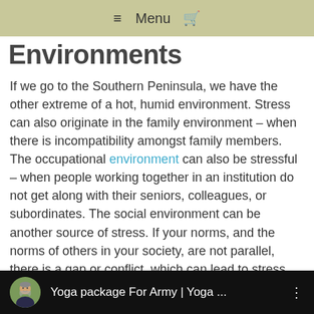≡ Menu 🛒
Environments
If we go to the Southern Peninsula, we have the other extreme of a hot, humid environment. Stress can also originate in the family environment – when there is incompatibility amongst family members. The occupational environment can also be stressful – when people working together in an institution do not get along with their seniors, colleagues, or subordinates. The social environment can be another source of stress. If your norms, and the norms of others in your society, are not parallel, there is a gap or conflict, which can lead to stress and distress.
[Figure (screenshot): Video thumbnail bar showing a circular avatar photo of a man in a dark jacket, with text 'Yoga package For Army | Yoga ...' on a dark background, and a three-dot menu icon on the right.]